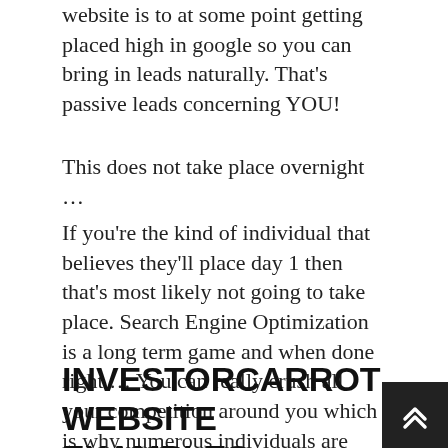website is to at some point getting placed high in google so you can bring in leads naturally. That's passive leads concerning YOU!
This does not take place overnight …
If you're the kind of individual that believes they'll place day 1 then that's most likely not going to take place. Search Engine Optimization is a long term game and when done right … You can really crush all your competition around you which is why numerous individuals are switching over to a Carrot website since they come SEO maximized as well as don't have to fret about building or coding a custom website themselves.
INVESTORCARROT WEBSITE EXAMPLES.